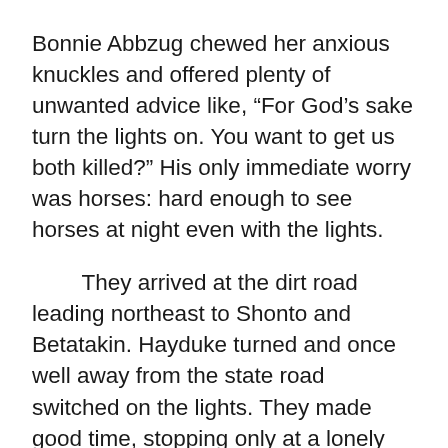Bonnie Abbzug chewed her anxious knuckles and offered plenty of unwanted advice like, “For God’s sake turn the lights on. You want to get us both killed?” His only immediate worry was horses: hard enough to see horses at night even with the lights.
They arrived at the dirt road leading northeast to Shonto and Betatakin. Hayduke turned and once well away from the state road switched on the lights. They made good time, stopping only at a lonely spot out in the desert, between two wind-stripped, dead and silvery junipers to recover the goods, packed in heavy canvas duffel bags, which the Gang had cached there after the railway bridge operation. That had been Hayduke’s idea—he wanted the dynamite in the bags for what he called “sanitary” reasons and for easier backpacking later. Abbzug had salvaged the empty boxes; that was her idea.